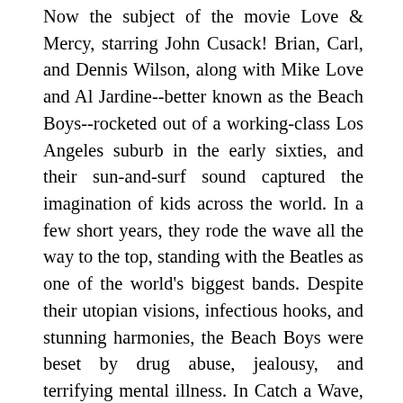Now the subject of the movie Love & Mercy, starring John Cusack! Brian, Carl, and Dennis Wilson, along with Mike Love and Al Jardine--better known as the Beach Boys--rocketed out of a working-class Los Angeles suburb in the early sixties, and their sun-and-surf sound captured the imagination of kids across the world. In a few short years, they rode the wave all the way to the top, standing with the Beatles as one of the world's biggest bands. Despite their utopian visions, infectious hooks, and stunning harmonies, the Beach Boys were beset by drug abuse, jealousy, and terrifying mental illness. In Catch a Wave, Peter Ames Carlin pulls back the curtain on Brian Wilson, one of popular music's most revered luminaries, as well as its biggest mystery. Drawing on hundreds of interviews and never-before heard studio recordings, Carlin follows the Beach